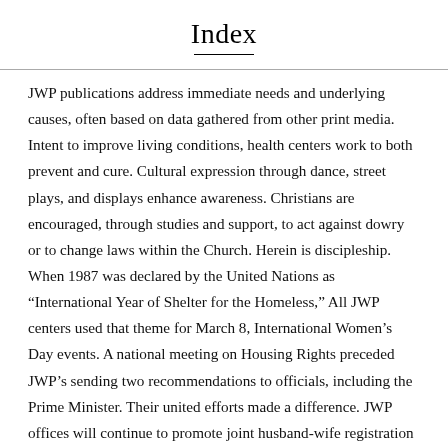Index
JWP publications address immediate needs and underlying causes, often based on data gathered from other print media. Intent to improve living conditions, health centers work to both prevent and cure. Cultural expression through dance, street plays, and displays enhance awareness. Christians are encouraged, through studies and support, to act against dowry or to change laws within the Church. Herein is discipleship. When 1987 was declared by the United Nations as “International Year of Shelter for the Homeless,” All JWP centers used that theme for March 8, International Women’s Day events. A national meeting on Housing Rights preceded JWP’s sending two recommendations to officials, including the Prime Minister. Their united efforts made a difference. JWP offices will continue to promote joint husband-wife registration of property and rights for single or dependent household heads.